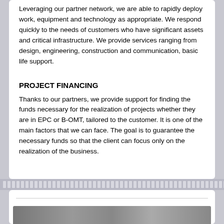Leveraging our partner network, we are able to rapidly deploy work, equipment and technology as appropriate. We respond quickly to the needs of customers who have significant assets and critical infrastructure. We provide services ranging from design, engineering, construction and communication, basic life support.
PROJECT FINANCING
Thanks to our partners, we provide support for finding the funds necessary for the realization of projects whether they are in EPC or B-OMT, tailored to the customer. It is one of the main factors that we can face. The goal is to guarantee the necessary funds so that the client can focus only on the realization of the business.
[Figure (photo): Partial view of a photo strip at the bottom of the page, appears to show industrial or construction imagery]